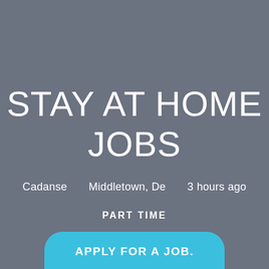STAY AT HOME JOBS
Cadanse   Middletown, De   3 hours ago
PART TIME
APPLY FOR A JOB.